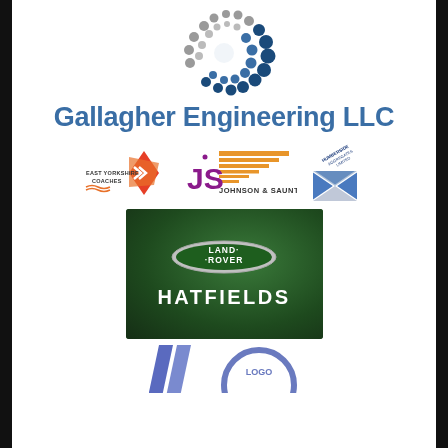[Figure (logo): Gallagher Engineering LLC circular dot logo — grey and dark blue dots arranged in a spiral/circular pattern]
Gallagher Engineering LLC
[Figure (logo): East Yorkshire Coaches logo with orange/red X motif]
[Figure (logo): JS Johnson & Saunt Ltd logo in magenta/orange with horizontal lines]
[Figure (logo): Humberside Aggregates Limited logo — blue and white X envelope shape with diagonal text]
[Figure (photo): Land Rover Hatfields dealership logo — Land Rover oval badge on green background with HATFIELDS text below]
[Figure (logo): Partial blue/purple diagonal stripe logos at bottom, partially cut off]